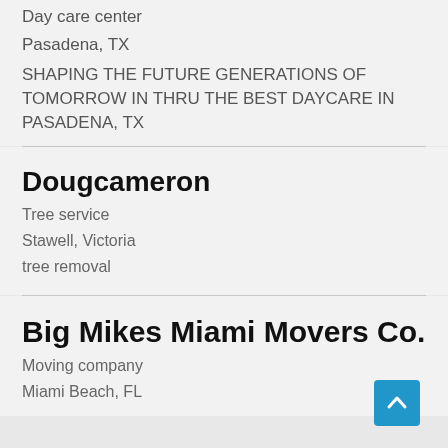Day care center
Pasadena, TX
SHAPING THE FUTURE GENERATIONS OF TOMORROW IN THRU THE BEST DAYCARE IN PASADENA, TX
Dougcameron
Tree service
Stawell, Victoria
tree removal
Big Mikes Miami Movers Co.
Moving company
Miami Beach, FL